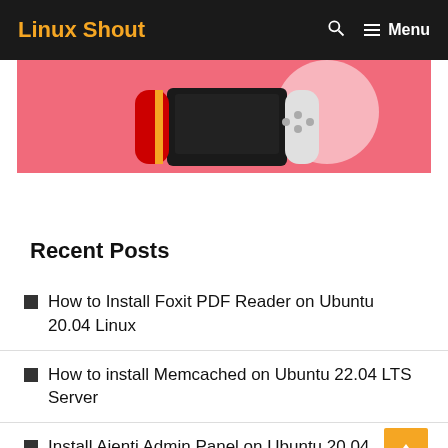Linux Shout  Menu
[Figure (photo): Nintendo Switch gaming device on a pink/coral background with a white circle accent]
Recent Posts
How to Install Foxit PDF Reader on Ubuntu 20.04 Linux
How to install Memcached on Ubuntu 22.04 LTS Server
Install Ajenti Admin Panel on Ubuntu 20.04